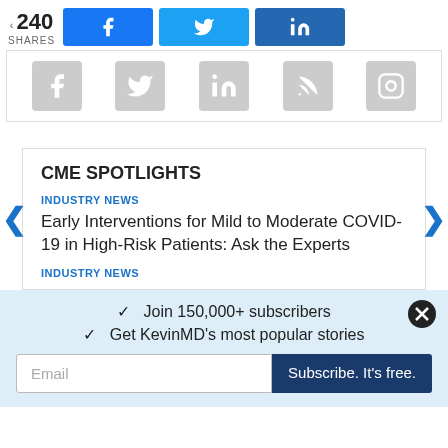240 SHARES
[Figure (infographic): Social share buttons: Facebook (blue), Twitter (light blue), LinkedIn (dark blue)]
[Figure (infographic): Social media icon row: Facebook, Twitter, LinkedIn, RSS, Instagram — all in grey]
CME SPOTLIGHTS
INDUSTRY NEWS
Early Interventions for Mild to Moderate COVID-19 in High-Risk Patients: Ask the Experts
INDUSTRY NEWS
✓  Join 150,000+ subscribers
✓  Get KevinMD's most popular stories
Email    Subscribe. It's free.